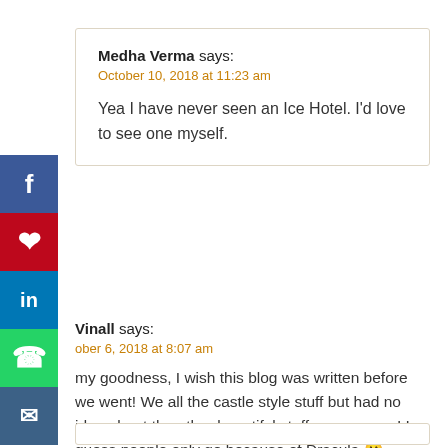Medha Verma says:
October 10, 2018 at 11:23 am

Yea I have never seen an Ice Hotel. I'd love to see one myself.
Vinall says:
October 6, 2018 at 8:07 am

my goodness, I wish this blog was written before we went! We all the castle style stuff but had no idea about the other beautiful stuff you can see! I guess people only go because of Dracula 🙁